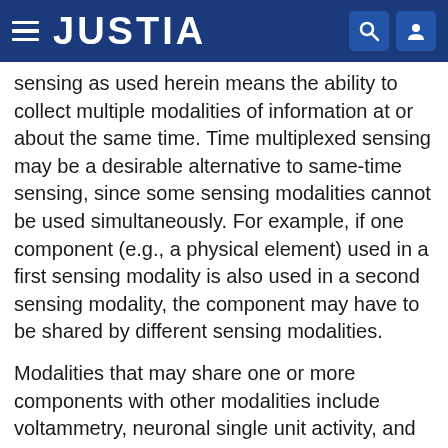JUSTIA
sensing as used herein means the ability to collect multiple modalities of information at or about the same time. Time multiplexed sensing may be a desirable alternative to same-time sensing, since some sensing modalities cannot be used simultaneously. For example, if one component (e.g., a physical element) used in a first sensing modality is also used in a second sensing modality, the component may have to be shared by different sensing modalities.
Modalities that may share one or more components with other modalities include voltammetry, neuronal single unit activity, and neuronal multi unit activity sensing modalities. A voltammetry modality may be configured to use the same microelectrodes as a single unit activity modality and/or as a multi unit activity modality.